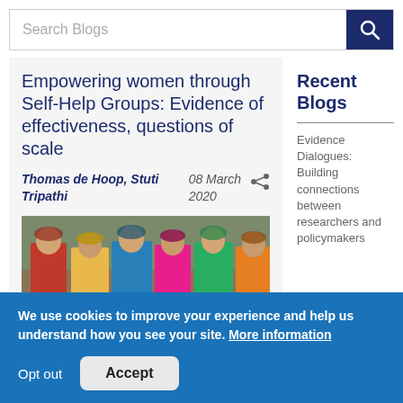Search Blogs
Empowering women through Self-Help Groups: Evidence of effectiveness, questions of scale
Thomas de Hoop, Stuti Tripathi   08 March 2020
[Figure (photo): Group of women in colorful saris standing together outdoors]
Recent Blogs
Evidence Dialogues: Building connections between researchers and policymakers
We use cookies to improve your experience and help us understand how you see your site. More information
Opt out
Accept